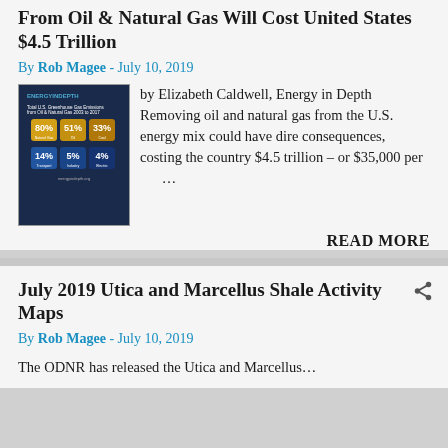From Oil & Natural Gas Will Cost United States $4.5 Trillion
By Rob Magee - July 10, 2019
[Figure (infographic): Energy in Depth infographic showing U.S. greenhouse gas emissions data with percentage breakdowns]
by Elizabeth Caldwell, Energy in Depth Removing oil and natural gas from the U.S. energy mix could have dire consequences, costing the country $4.5 trillion – or $35,000 per ...
READ MORE
July 2019 Utica and Marcellus Shale Activity Maps
By Rob Magee - July 10, 2019
The ODNR has released the Utica and Marcellus...